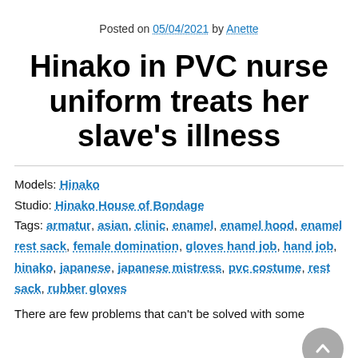Posted on 05/04/2021 by Anette
Hinako in PVC nurse uniform treats her slave’s illness
Models: Hinako
Studio: Hinako House of Bondage
Tags: armatur, asian, clinic, enamel, enamel hood, enamel rest sack, female domination, gloves hand job, hand job, hinako, japanese, japanese mistress, pvc costume, rest sack, rubber gloves
There are few problems that can’t be solved with some